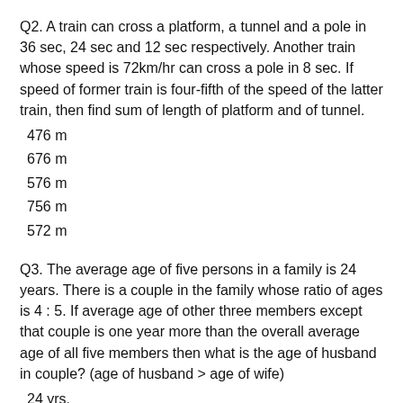Q2. A train can cross a platform, a tunnel and a pole in 36 sec, 24 sec and 12 sec respectively. Another train whose speed is 72km/hr can cross a pole in 8 sec. If speed of former train is four-fifth of the speed of the latter train, then find sum of length of platform and of tunnel.
476 m
676 m
576 m
756 m
572 m
Q3. The average age of five persons in a family is 24 years. There is a couple in the family whose ratio of ages is 4 : 5. If average age of other three members except that couple is one year more than the overall average age of all five members then what is the age of husband in couple? (age of husband > age of wife)
24 yrs.
25 yrs.
20 yrs.